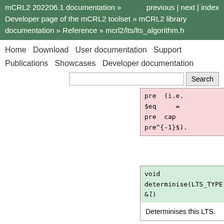mCRL2 202206.1 documentation » previous | next | index
Developer page of the mCRL2 toolset » mCRL2 library documentation » Reference » mcrl2/lts/lts_algorithm.h
Home   Download   User documentation   Support   Publications   Showcases   Developer documentation
|  |
| --- |
| pre (i.e. $eq = pre cap pre^{-1}$). |
| void determinise(LTS_TYPE &l) |
| --- |
| Determinises this LTS. |
| bool |
| --- |